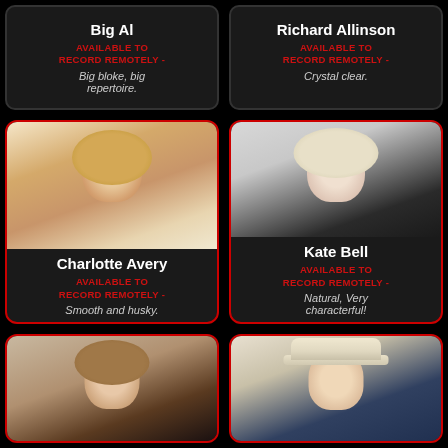[Figure (photo): Card for Big Al - text only card with name and available to record remotely description]
Big Al
AVAILABLE TO RECORD REMOTELY - Big bloke, big repertoire.
[Figure (photo): Card for Richard Allinson - text only card with name and available to record remotely description]
Richard Allinson
AVAILABLE TO RECORD REMOTELY - Crystal clear.
[Figure (photo): Portrait photo of Charlotte Avery, blonde woman]
Charlotte Avery
AVAILABLE TO RECORD REMOTELY - Smooth and husky.
[Figure (photo): Portrait photo of Kate Bell, blonde woman]
Kate Bell
AVAILABLE TO RECORD REMOTELY - Natural, Very characterful!
[Figure (photo): Portrait photo of woman, brunette, bottom left]
[Figure (photo): Portrait photo of man wearing a white hat with colored band, bottom right]